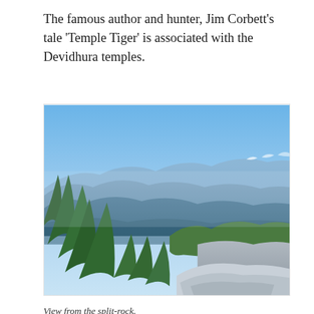The famous author and hunter, Jim Corbett's tale 'Temple Tiger' is associated with the Devidhura temples.
[Figure (photo): A panoramic mountain landscape view from a split-rock, showing layers of blue-hued hills and mountains in the background, dense green conifer forest in the foreground, and a curved rocky path on the right side under a clear blue sky.]
View from the split-rock.